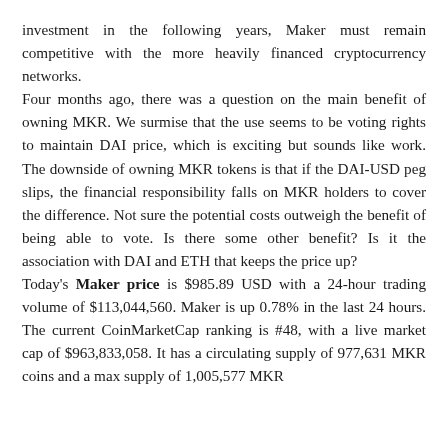investment in the following years, Maker must remain competitive with the more heavily financed cryptocurrency networks.
Four months ago, there was a question on the main benefit of owning MKR. We surmise that the use seems to be voting rights to maintain DAI price, which is exciting but sounds like work. The downside of owning MKR tokens is that if the DAI-USD peg slips, the financial responsibility falls on MKR holders to cover the difference. Not sure the potential costs outweigh the benefit of being able to vote. Is there some other benefit? Is it the association with DAI and ETH that keeps the price up?
Today's Maker price is $985.89 USD with a 24-hour trading volume of $113,044,560. Maker is up 0.78% in the last 24 hours. The current CoinMarketCap ranking is #48, with a live market cap of $963,833,058. It has a circulating supply of 977,631 MKR coins and a max supply of 1,005,577 MKR